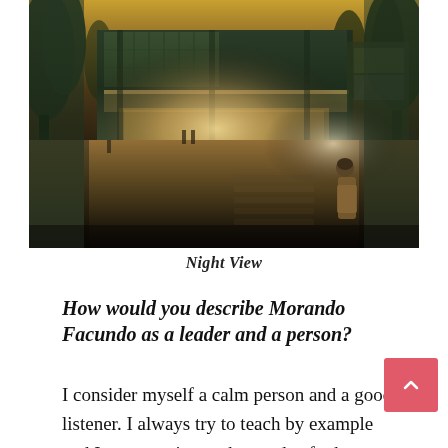[Figure (photo): Night view of a modern building with green vertical garden facade, illuminated from within, with a person standing in the foreground on a wet street at dusk.]
Night View
How would you describe Morando Facundo as a leader and a person?
I consider myself a calm person and a good listener. I always try to teach by example and I am attentive to the needs of others. When I focus on my work, I